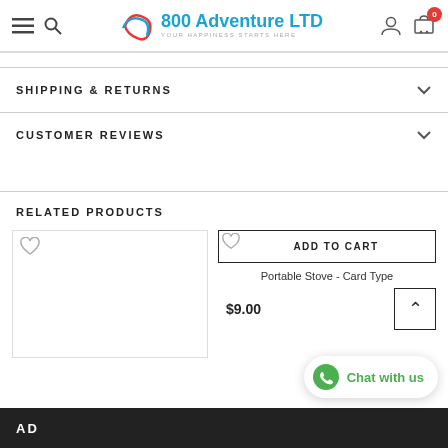800 Adventure LTD - YOUR HAPPINESS STARTS HERE
SHIPPING & RETURNS
CUSTOMER REVIEWS
RELATED PRODUCTS
ADD TO CART
Portable Stove - Card Type
$9.00
Chat with us